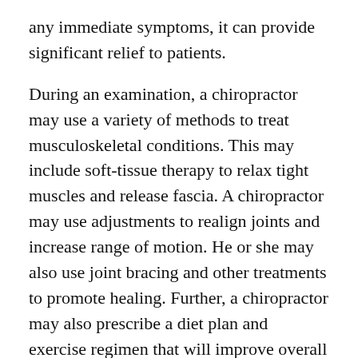any immediate symptoms, it can provide significant relief to patients.
During an examination, a chiropractor may use a variety of methods to treat musculoskeletal conditions. This may include soft-tissue therapy to relax tight muscles and release fascia. A chiropractor may use adjustments to realign joints and increase range of motion. He or she may also use joint bracing and other treatments to promote healing. Further, a chiropractor may also prescribe a diet plan and exercise regimen that will improve overall health.
[Figure (other): Social media sharing icons: Facebook (blue circle with f), Twitter (blue circle with bird), Email (blue circle with envelope), Share (dark blue circle with share icon)]